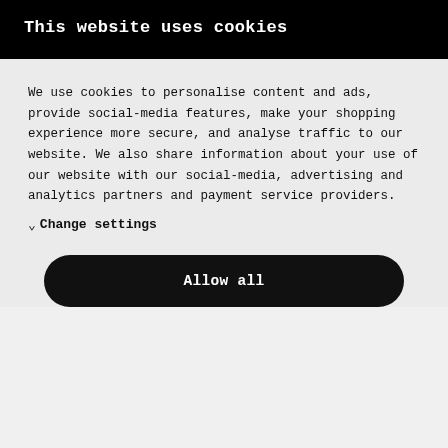This website uses cookies
We use cookies to personalise content and ads, provide social-media features, make your shopping experience more secure, and analyse traffic to our website. We also share information about your use of our website with our social-media, advertising and analytics partners and payment service providers.
∨ Change settings
Allow all
Pepe Jeans
Shorts
Our Price
ᐱ ᐯ ew Zealand Auckland
Shorts
Our Price